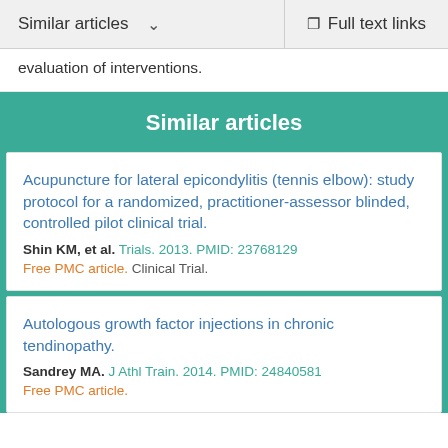Similar articles   Full text links
evaluation of interventions.
Similar articles
Acupuncture for lateral epicondylitis (tennis elbow): study protocol for a randomized, practitioner-assessor blinded, controlled pilot clinical trial.
Shin KM, et al. Trials. 2013. PMID: 23768129
Free PMC article. Clinical Trial.
Autologous growth factor injections in chronic tendinopathy.
Sandrey MA. J Athl Train. 2014. PMID: 24840581
Free PMC article.